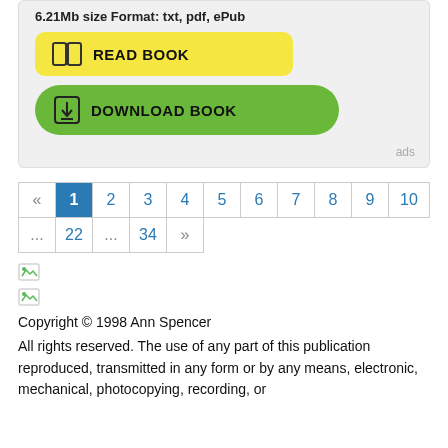6.21Mb size Format: txt, pdf, ePub
[Figure (screenshot): Yellow READ BOOK button with open book icon]
[Figure (screenshot): Green DOWNLOAD BOOK button with download icon]
ads
| « | 1 | 2 | 3 | 4 | 5 | 6 | 7 | 8 | 9 | 10 |
| ... | 22 | ... | 34 | » |
[Figure (illustration): Broken image icon 1]
[Figure (illustration): Broken image icon 2]
Copyright © 1998 Ann Spencer
All rights reserved. The use of any part of this publication reproduced, transmitted in any form or by any means, electronic, mechanical, photocopying, recording, or